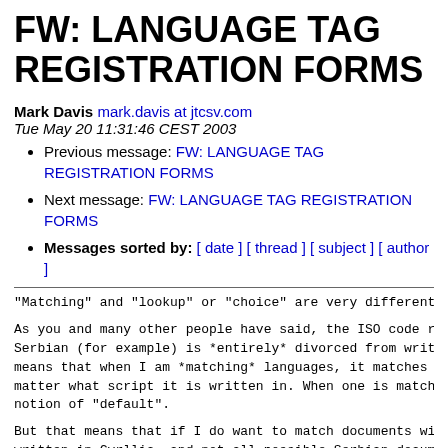FW: LANGUAGE TAG REGISTRATION FORMS
Mark Davis mark.davis at jtcsv.com
Tue May 20 11:31:46 CEST 2003
Previous message: FW: LANGUAGE TAG REGISTRATION FORMS
Next message: FW: LANGUAGE TAG REGISTRATION FORMS
Messages sorted by: [ date ] [ thread ] [ subject ] [ author ]
"Matching" and "lookup" or "choice" are very different fu
As you and many other people have said, the ISO code repr
Serbian (for example) is *entirely* divorced from written
means that when I am *matching* languages, it matches any
matter what script it is written in. When one is matching
notion of "default".
But that means that if I do want to match documents with
written in Cyrllic, and not all possible Serbian document
need to have a separate code for that. Thus there are thr
things.